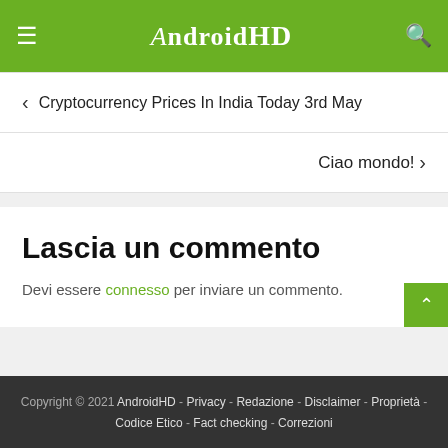AndroidHD
‹ Cryptocurrency Prices In India Today 3rd May
Ciao mondo! ›
Lascia un commento
Devi essere connesso per inviare un commento.
Copyright © 2021 AndroidHD - Privacy - Redazione - Disclaimer - Proprietà - Codice Etico - Fact checking - Correzioni